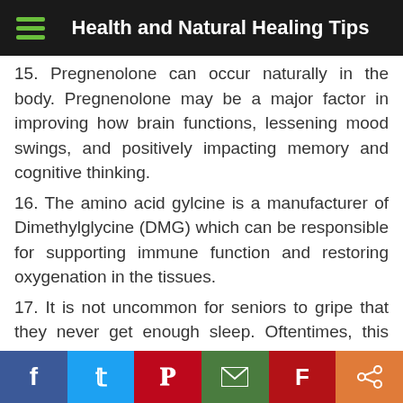Health and Natural Healing Tips
15. Pregnenolone can occur naturally in the body. Pregnenolone may be a major factor in improving how brain functions, lessening mood swings, and positively impacting memory and cognitive thinking.
16. The amino acid gylcine is a manufacturer of Dimethylglycine (DMG) which can be responsible for supporting immune function and restoring oxygenation in the tissues.
17. It is not uncommon for seniors to gripe that they never get enough sleep. Oftentimes, this can happen due to